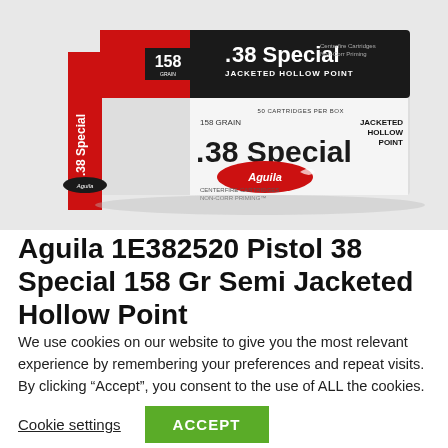[Figure (photo): Box of Aguila .38 Special 158 Grain Jacketed Hollow Point ammunition, 50 cartridges per box. Box is red, black, and white with the Aguila eagle logo.]
Aguila 1E382520 Pistol 38 Special 158 Gr Semi Jacketed Hollow Point
We use cookies on our website to give you the most relevant experience by remembering your preferences and repeat visits. By clicking “Accept”, you consent to the use of ALL the cookies.
Cookie settings  ACCEPT